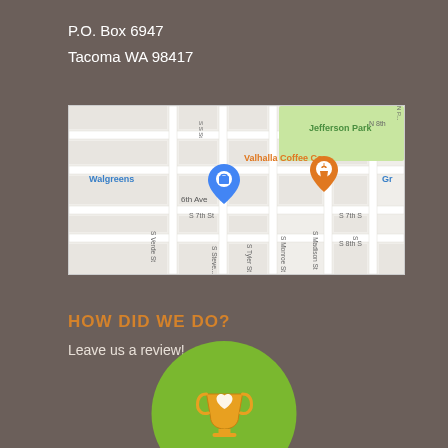P.O. Box 6947
Tacoma WA 98417
[Figure (map): Google Maps screenshot showing area around 6th Ave in Tacoma WA, with Walgreens, Valhalla Coffee Co, Jefferson Park labeled. Orange coffee cup pin marker visible.]
HOW DID WE DO?
Leave us a review!
[Figure (logo): Green circle with orange/yellow trophy cup icon with a heart, partially visible at bottom of page]